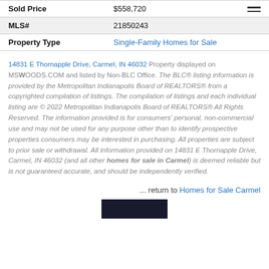| Field | Value |
| --- | --- |
| Sold Price | $558,720 |
| MLS# | 21850243 |
| Property Type | Single-Family Homes for Sale |
14831 E Thornapple Drive, Carmel, IN 46032 Property displayed on MSWOODS.COM and listed by Non-BLC Office. The BLC® listing information is provided by the Metropolitan Indianapolis Board of REALTORS® from a copyrighted compilation of listings. The compilation of listings and each individual listing are © 2022 Metropolitan Indianapolis Board of REALTORS® All Rights Reserved. The information provided is for consumers' personal, non-commercial use and may not be used for any purpose other than to identify prospective properties consumers may be interested in purchasing. All properties are subject to prior sale or withdrawal. All information provided on 14831 E Thornapple Drive, Carmel, IN 46032 (and all other homes for sale in Carmel) is deemed reliable but is not guaranteed accurate, and should be independently verified.
... return to Homes for Sale Carmel
[Figure (other): Dark rectangular image block at bottom center]